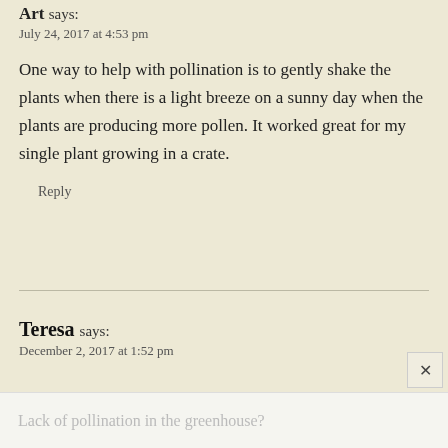Art says: July 24, 2017 at 4:53 pm
One way to help with pollination is to gently shake the plants when there is a light breeze on a sunny day when the plants are producing more pollen. It worked great for my single plant growing in a crate.
Reply
Teresa says: December 2, 2017 at 1:52 pm
Lack of pollination in the greenhouse?